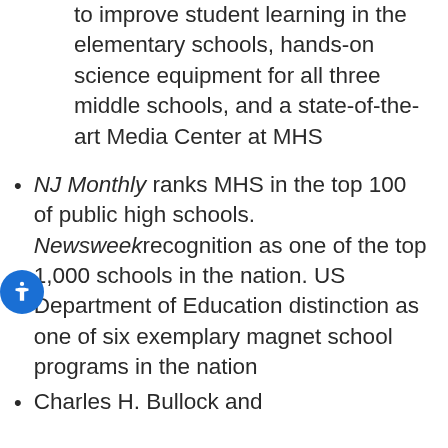to improve student learning in the elementary schools, hands-on science equipment for all three middle schools, and a state-of-the-art Media Center at MHS
NJ Monthly ranks MHS in the top 100 of public high schools. Newsweek recognition as one of the top 1,000 schools in the nation. US Department of Education distinction as one of six exemplary magnet school programs in the nation
Charles H. Bullock and